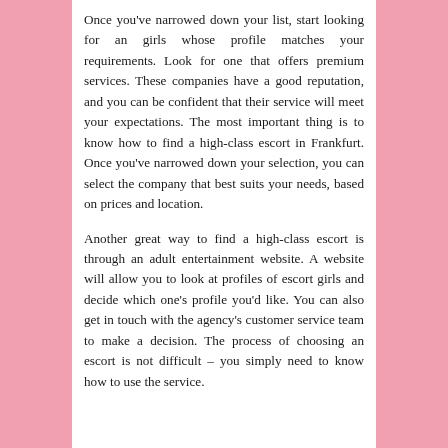Once you've narrowed down your list, start looking for an girls whose profile matches your requirements. Look for one that offers premium services. These companies have a good reputation, and you can be confident that their service will meet your expectations. The most important thing is to know how to find a high-class escort in Frankfurt. Once you've narrowed down your selection, you can select the company that best suits your needs, based on prices and location.
Another great way to find a high-class escort is through an adult entertainment website. A website will allow you to look at profiles of escort girls and decide which one's profile you'd like. You can also get in touch with the agency's customer service team to make a decision. The process of choosing an escort is not difficult – you simply need to know how to use the service.